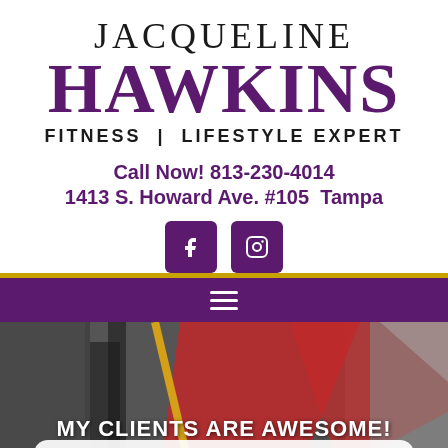JACQUELINE HAWKINS FITNESS | LIFESTYLE EXPERT
Call Now! 813-230-4014
1413 S. Howard Ave. #105  Tampa
[Figure (logo): Facebook and Instagram social media icon buttons in purple square rounded rectangles]
[Figure (photo): Gym interior photo with red and grey equipment, with overlay text MY CLIENTS ARE AWESOME!]
My weight loss journey has